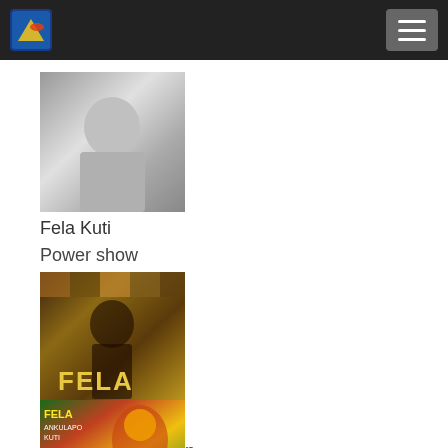[Figure (photo): Black and white photo of Fela Kuti smiling, holding a cigarette]
Fela Kuti
Power show
[Figure (photo): Fela Kuti album cover collage - THE KING OF AFROBEAT, FELA written in large letters]
Fela Kuti
Beast Of No Nation
[Figure (photo): FELA ANKULAPO KUTI album cover with colorful illustration]